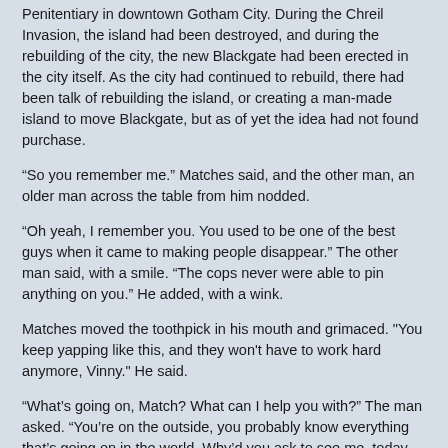Penitentiary in downtown Gotham City. During the Chreil Invasion, the island had been destroyed, and during the rebuilding of the city, the new Blackgate had been erected in the city itself. As the city had continued to rebuild, there had been talk of rebuilding the island, or creating a man-made island to move Blackgate, but as of yet the idea had not found purchase.
“So you remember me.” Matches said, and the other man, an older man across the table from him nodded.
“Oh yeah, I remember you. You used to be one of the best guys when it came to making people disappear.” The other man said, with a smile. “The cops never were able to pin anything on you.” He added, with a wink.
Matches moved the toothpick in his mouth and grimaced. "You keep yapping like this, and they won't have to work hard anymore, Vinny." He said.
“What’s going on, Match? What can I help you with?” The man asked. “You’re on the outside, you probably know everything that’s going on in the world. Why’d you ask to see me, today, at this time?”
“What do you know about Banner?” Matches asked, jerking his head in the direction of the white-collar criminal who sat near them, talking to a man that looked like a lawyer. “I want to know everything you know about